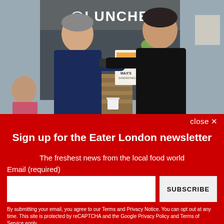[Figure (photo): Two men posing outside a cafe/restaurant called Lunchlt, one older man in a dark blue shirt and one younger man in a black t-shirt, holding a poster for Max's sandwiches between them with a plant/flower. A woman is visible seated in background.]
close ✕
Sign up for the Eater London newsletter
The freshest news from the local food world
Email (required)
SUBSCRIBE
By submitting your email, you agree to our Terms and Privacy Notice. You can opt out at any time. This site is protected by reCAPTCHA and the Google Privacy Policy and Terms of Service apply.